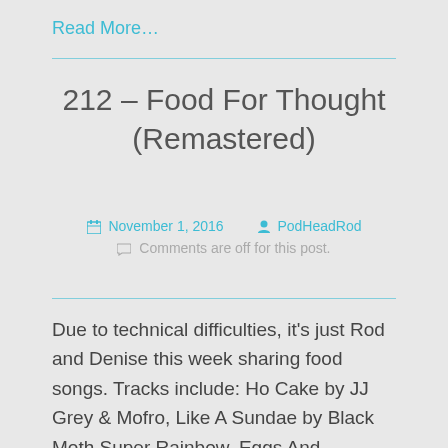Read More…
212 – Food For Thought (Remastered)
November 1, 2016   PodHeadRod
Comments are off for this post.
Due to technical difficulties, it's just Rod and Denise this week sharing food songs. Tracks include: Ho Cake by JJ Grey & Mofro, Like A Sundae by Black Moth Super Rainbow, Eggs And Sausage by Tom Waits, The Half-Eaten Sausage Would Like To See You In His Office by The Locust, Sweatpants by Childish